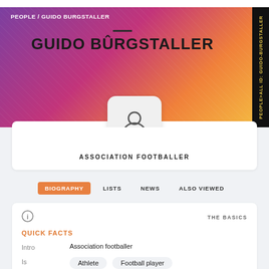PEOPLE / GUIDO BURGSTALLER
GUIDO BURGSTALLER
ASSOCIATION FOOTBALLER
BIOGRAPHY  LISTS  NEWS  ALSO VIEWED
THE BASICS
QUICK FACTS
| Field | Value |
| --- | --- |
| Intro | Association footballer |
| Is | Athlete  Football player |